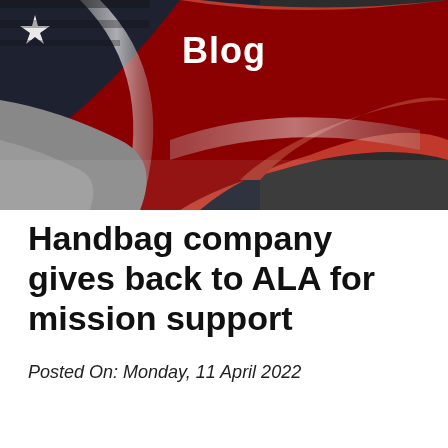[Figure (photo): Close-up photograph of an American flag showing red, white and blue stripes and a white star, with the word 'Blog' overlaid in white bold text at the top center.]
Handbag company gives back to ALA for mission support
Posted On: Monday, 11 April 2022